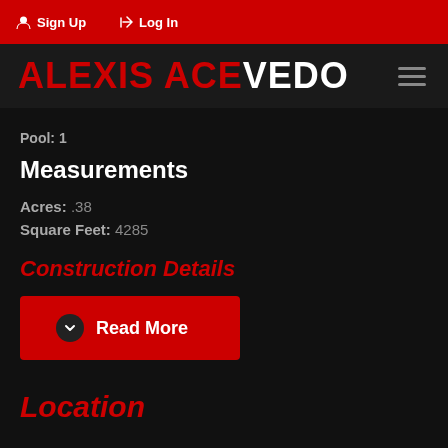Sign Up   Log In
ALEXIS ACEVEDO
Pool:  1
Measurements
Acres:  .38
Square Feet:  4285
Construction Details
Read More
Location